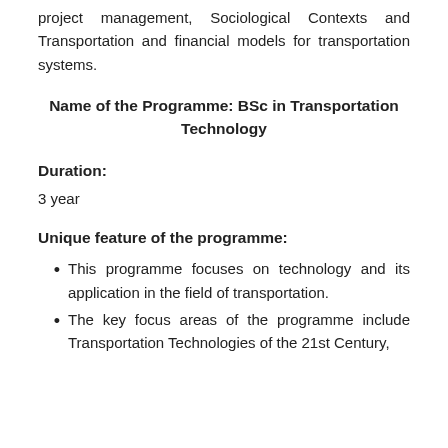project management, Sociological Contexts and Transportation and financial models for transportation systems.
Name of the Programme: BSc in Transportation Technology
Duration:
3 year
Unique feature of the programme:
This programme focuses on technology and its application in the field of transportation.
The key focus areas of the programme include Transportation Technologies of the 21st Century,